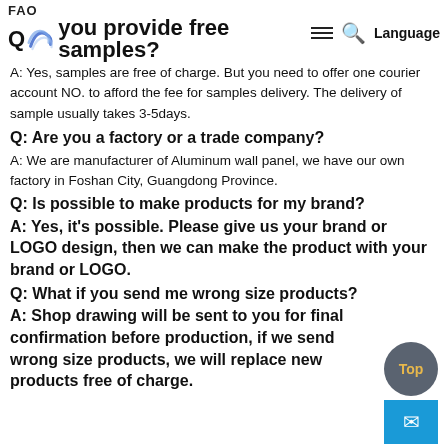FAO  Q  you provide free samples?  Language
A: Yes, samples are free of charge. But you need to offer one courier account NO. to afford the fee for samples delivery. The delivery of sample usually takes 3-5days.
Q: Are you a factory or a trade company?
A: We are manufacturer of Aluminum wall panel, we have our own factory in Foshan City, Guangdong Province.
Q: Is possible to make products for my brand?
A: Yes, it's possible. Please give us your brand or LOGO design, then we can make the product with your brand or LOGO.
Q: What if you send me wrong size products?
A: Shop drawing will be sent to you for final confirmation before production, if we send wrong size products, we will replace new products free of charge.